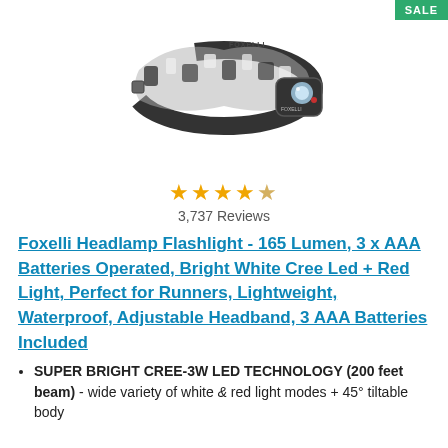[Figure (photo): Foxelli headlamp with black and white patterned strap and LED lamp module on right side]
★★★★☆ 3,737 Reviews
Foxelli Headlamp Flashlight - 165 Lumen, 3 x AAA Batteries Operated, Bright White Cree Led + Red Light, Perfect for Runners, Lightweight, Waterproof, Adjustable Headband, 3 AAA Batteries Included
SUPER BRIGHT CREE-3W LED TECHNOLOGY (200 feet beam) - wide variety of white & red light modes + 45° tiltable body